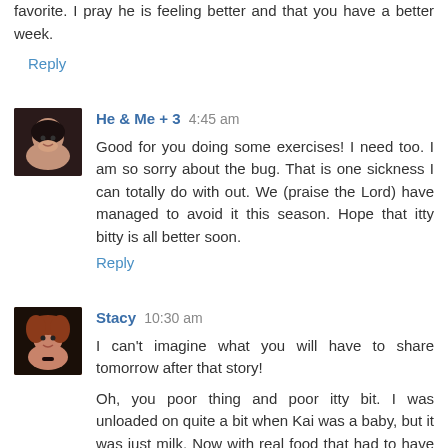favorite. I pray he is feeling better and that you have a better week.
Reply
He & Me + 3  4:45 am
Good for you doing some exercises! I need too. I am so sorry about the bug. That is one sickness I can totally do with out. We (praise the Lord) have managed to avoid it this season. Hope that itty bitty is all better soon.
Reply
Stacy  10:30 am
I can't imagine what you will have to share tomorrow after that story!
Oh, you poor thing and poor itty bit. I was unloaded on quite a bit when Kai was a baby, but it was just milk. Now with real food that had to have been quite AWFUL. Hope he is feeling much better now.